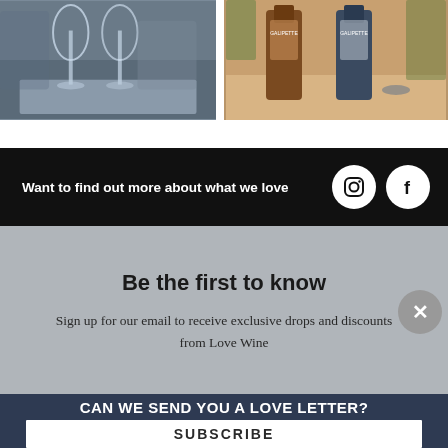[Figure (photo): Two photos side by side: left shows wine glasses at a restaurant table, right shows two Caliplette beer bottles on a surface with a bottle cap.]
Want to find out more about what we love
[Figure (illustration): Instagram and Facebook circular social media icons in white on black background.]
Be the first to know
Sign up for our email to receive exclusive drops and discounts from Love Wine
CAN WE SEND YOU A LOVE LETTER?
SUBSCRIBE